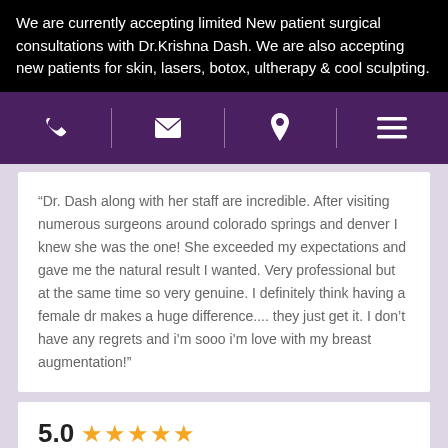We are currently accepting limited New patient surgical consultations with Dr.Krishna Dash. We are also accepting new patients for skin, lasers, botox, ultherapy & cool sculpting.
[Figure (other): Navigation bar with phone, email, location pin, and hamburger menu icons on purple background]
“Dr. Dash along with her staff are incredible. After visiting numerous surgeons around colorado springs and denver I knew she was the one! She exceeded my expectations and gave me the natural result I wanted. Very professional but at the same time so very genuine. I definitely think having a female dr makes a huge difference.... they just get it. I don’t have any regrets and i’m sooo i’m love with my breast augmentation!”
5.0 ★★★★★
Review from
T.
Source: RealSelf
Jun 29, 2019